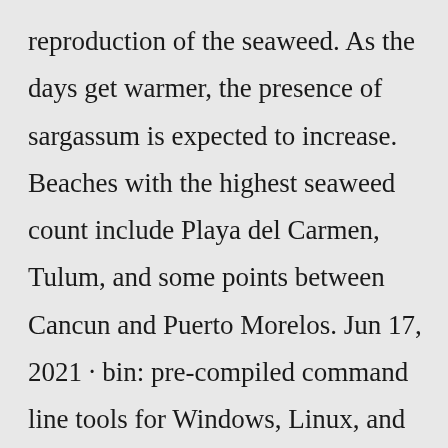reproduction of the seaweed. As the days get warmer, the presence of sargassum is expected to increase. Beaches with the highest seaweed count include Playa del Carmen, Tulum, and some points between Cancun and Puerto Morelos. Jun 17, 2021 · bin: pre-compiled command line tools for Windows, Linux, and MacOS that read and write FBX and Alembic files. Check out the usage by running DemBones --help.